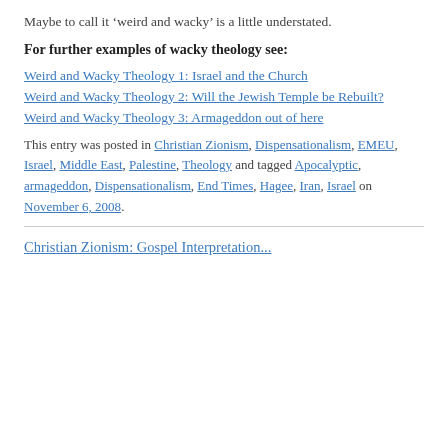Maybe to call it ‘weird and wacky’ is a little understated.
For further examples of wacky theology see:
Weird and Wacky Theology 1: Israel and the Church
Weird and Wacky Theology 2: Will the Jewish Temple be Rebuilt?
Weird and Wacky Theology 3: Armageddon out of here
This entry was posted in Christian Zionism, Dispensationalism, EMEU, Israel, Middle East, Palestine, Theology and tagged Apocalyptic, armageddon, Dispensationalism, End Times, Hagee, Iran, Israel on November 6, 2008.
Christian Zionism: Gospel Interpretation...